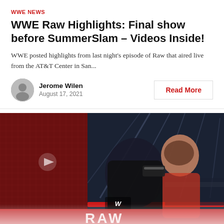WWE NEWS
WWE Raw Highlights: Final show before SummerSlam – Videos Inside!
WWE posted highlights from last night's episode of Raw that aired live from the AT&T Center in San...
Jerome Wilen
August 17, 2021
Read More
[Figure (photo): WWE Raw wrestling match photo showing wrestlers in the ring, with RAW logo visible at the bottom. A play button overlay is visible on the left side.]